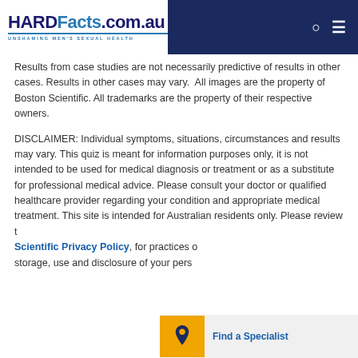HARDFacts.com.au — UNSHAMING MEN'S SEXUAL HEALTH
Results from case studies are not necessarily predictive of results in other cases. Results in other cases may vary.  All images are the property of Boston Scientific. All trademarks are the property of their respective owners.
DISCLAIMER: Individual symptoms, situations, circumstances and results may vary. This quiz is meant for information purposes only, it is not intended to be used for medical diagnosis or treatment or as a substitute for professional medical advice. Please consult your doctor or qualified healthcare provider regarding your condition and appropriate medical treatment. This site is intended for Australian residents only. Please review the Boston Scientific Privacy Policy, for practices on the collection, storage, use and disclosure of your personal information.
[Figure (other): Find a Specialist button with orange location pin icon and grey background bar]